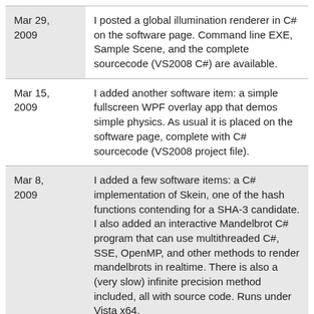| Date | Description |
| --- | --- |
| Mar 29, 2009 | I posted a global illumination renderer in C# on the software page. Command line EXE, Sample Scene, and the complete sourcecode (VS2008 C#) are available. |
| Mar 15, 2009 | I added another software item: a simple fullscreen WPF overlay app that demos simple physics. As usual it is placed on the software page, complete with C# sourcecode (VS2008 project file). |
| Mar 8, 2009 | I added a few software items: a C# implementation of Skein, one of the hash functions contending for a SHA-3 candidate. I also added an interactive Mandelbrot C# program that can use multithreaded C#, SSE, OpenMP, and other methods to render mandelbrots in realtime. There is also a (very slow) infinite precision method included, all with source code. Runs under Vista x64. |